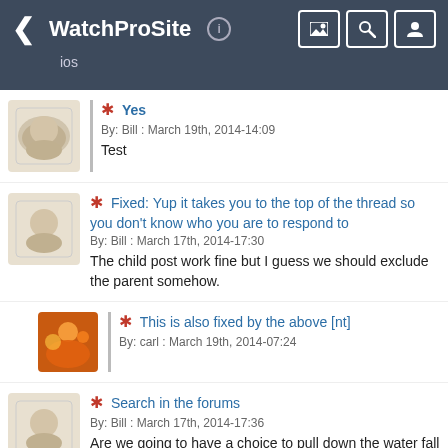WatchProSite ios
Yes
By: Bill : March 19th, 2014-14:09
Test
Fixed: Yup it takes you to the top of the thread so you don't know who you are to respond to
By: Bill : March 17th, 2014-17:30
The child post work fine but I guess we should exclude the parent somehow.
This is also fixed by the above [nt]
By: carl : March 19th, 2014-07:24
Search in the forums
By: Bill : March 17th, 2014-17:36
Are we going to have a choice to pull down the water fall to refresh and if we hold it the search field appears.
This is a difficult ui issue
By: carl : March 19th, 2014-07:26
It will just look and feel weird to the user Having two